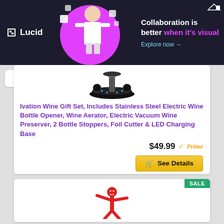[Figure (screenshot): Lucid advertisement banner. Dark background with Lucid logo on left, illustrated person with floating squares in center, text: 'Collaboration is better when it's visual' and 'Explore now →' on right.]
[Figure (photo): Wine gift set product image showing a black circular LED charging base with stainless steel electric wine opener and accessories on top.]
Ivation Wine Gift Set, Includes Stainless Steel Electric Wine Bottle Opener, Wine Aerator, Electric Vacuum Wine Preserver, 2 Bottle Stoppers, Foil Cutter & LED Charging Base
$49.99 ✓Prime
🛒 See Details
SALE
[Figure (illustration): Red cartoon character (waving inflatable tube man / air dancer figure) partially visible at bottom of page.]